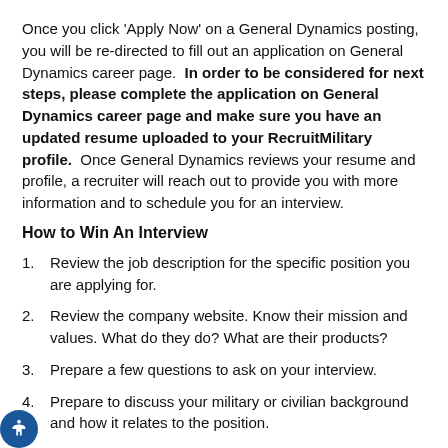Once you click 'Apply Now' on a General Dynamics posting, you will be re-directed to fill out an application on General Dynamics career page. In order to be considered for next steps, please complete the application on General Dynamics career page and make sure you have an updated resume uploaded to your RecruitMilitary profile. Once General Dynamics reviews your resume and profile, a recruiter will reach out to provide you with more information and to schedule you for an interview.
How to Win An Interview
Review the job description for the specific position you are applying for.
Review the company website. Know their mission and values. What do they do? What are their products?
Prepare a few questions to ask on your interview.
Prepare to discuss your military or civilian background and how it relates to the position.